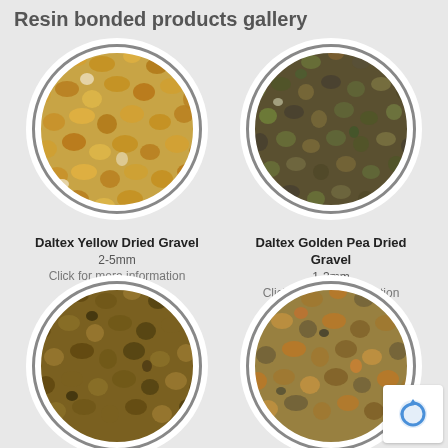Resin bonded products gallery
[Figure (photo): Circular photo of Daltex Yellow Dried Gravel, 2-5mm, showing golden-yellow small stones]
Daltex Yellow Dried Gravel
2-5mm
Click for more information
[Figure (photo): Circular photo of Daltex Golden Pea Dried Gravel, 1-3mm, showing dark mixed small stones]
Daltex Golden Pea Dried Gravel
1-3mm
Click for more information
[Figure (photo): Circular photo of a gravel product (bottom left), showing brown-golden small stones]
[Figure (photo): Circular photo of a gravel product (bottom right), showing mixed brown and orange small stones, partially cut off]